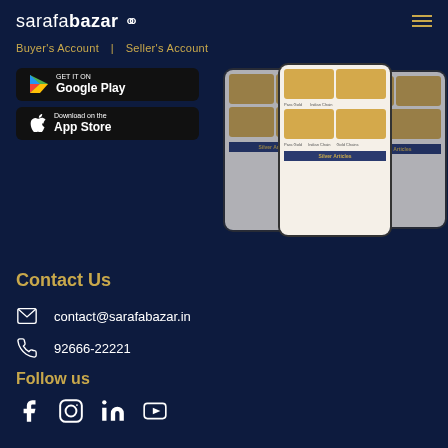sarafabazar
Buyer's Account | Seller's Account
[Figure (screenshot): Google Play and App Store download buttons on dark background]
[Figure (screenshot): Three mobile phone mockups showing sarafabazar app with gold jewelry categories including Para Gold, Indian Chain, Gold Chains, and Silver Articles]
Contact Us
contact@sarafabazar.in
92666-22221
Follow us
[Figure (infographic): Social media icons: Facebook, Instagram, LinkedIn, YouTube]